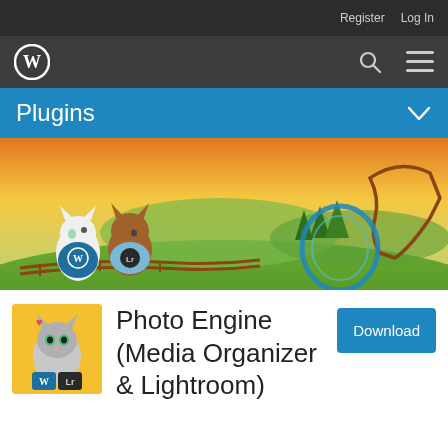Register  Log In
[Figure (logo): WordPress logo (W in circle) on dark nav bar with search icon and hamburger menu]
Plugins
[Figure (illustration): Banner illustration showing cartoon cat characters wearing WordPress and Lightroom t-shirts sitting on a roller coaster track, with a scenic background of hills, trees, and a yellow sky]
[Figure (illustration): Plugin icon: cartoon cat holding WordPress and Lightroom puzzle pieces, on yellow background]
Photo Engine (Media Organizer & Lightroom)
Download